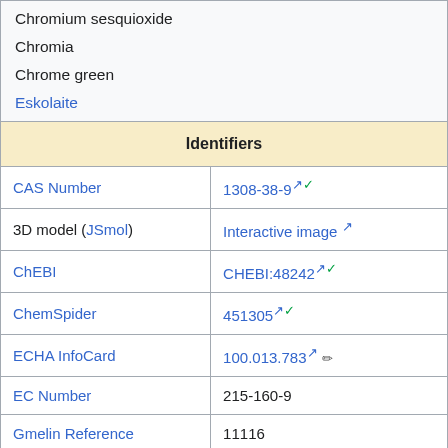| Chromium sesquioxide |  |
| Chromia |  |
| Chrome green |  |
| Eskolaite (link) |  |
Identifiers
|  |  |
| --- | --- |
| CAS Number | 1308-38-9 ✓ |
| 3D model (JSmol) | Interactive image ↗ |
| ChEBI | CHEBI:48242 ✓ |
| ChemSpider | 451305 ✓ |
| ECHA InfoCard | 100.013.783 ✏ |
| EC Number | 215-160-9 |
| Gmelin Reference | 11116 |
| PubChem CID | 517277 ↗ |